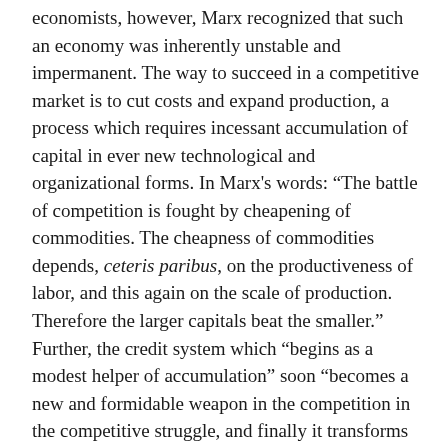economists, however, Marx recognized that such an economy was inherently unstable and impermanent. The way to succeed in a competitive market is to cut costs and expand production, a process which requires incessant accumulation of capital in ever new technological and organizational forms. In Marx's words: “The battle of competition is fought by cheapening of commodities. The cheapness of commodities depends, ceteris paribus, on the productiveness of labor, and this again on the scale of production. Therefore the larger capitals beat the smaller.” Further, the credit system which “begins as a modest helper of accumulation” soon “becomes a new and formidable weapon in the competition in the competitive struggle, and finally it transforms itself into an immense social mechanism for the centralization of capitals” (Marx, 1894, ch. 27).
There is thus no doubt that Marx and Engels believed